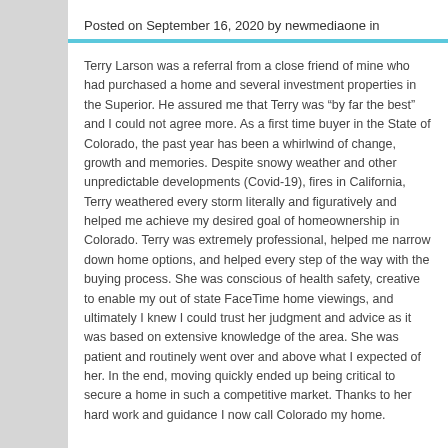Posted on September 16, 2020 by newmediaone in
Terry Larson was a referral from a close friend of mine who had purchased a home and several investment properties in the Superior. He assured me that Terry was “by far the best” and I could not agree more. As a first time buyer in the State of Colorado, the past year has been a whirlwind of change, growth and memories. Despite snowy weather and other unpredictable developments (Covid-19), fires in California, Terry weathered every storm literally and figuratively and helped me achieve my desired goal of homeownership in Colorado. Terry was extremely professional, helped me narrow down home options, and helped every step of the way with the buying process. She was conscious of health safety, creative to enable my out of state FaceTime home viewings, and ultimately I knew I could trust her judgment and advice as it was based on extensive knowledge of the area. She was patient and routinely went over and above what I expected of her. In the end, moving quickly ended up being critical to secure a home in such a competitive market. Thanks to her hard work and guidance I now call Colorado my home.